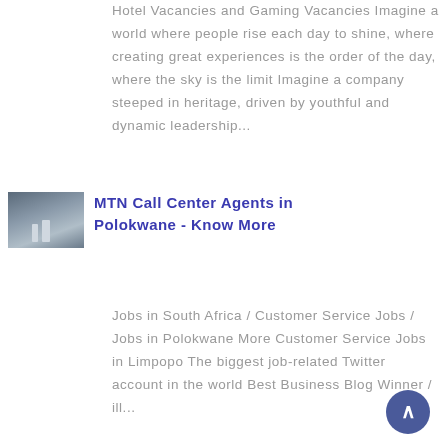Hotel Vacancies and Gaming Vacancies Imagine a world where people rise each day to shine, where creating great experiences is the order of the day, where the sky is the limit Imagine a company steeped in heritage, driven by youthful and dynamic leadership...
[Figure (photo): Thumbnail photo of industrial or mining structures against a sky background]
MTN Call Center Agents in Polokwane - Know More
Jobs in South Africa / Customer Service Jobs / Jobs in Polokwane More Customer Service Jobs in Limpopo The biggest job-related Twitter account in the world Best Business Blog Winner / ill...